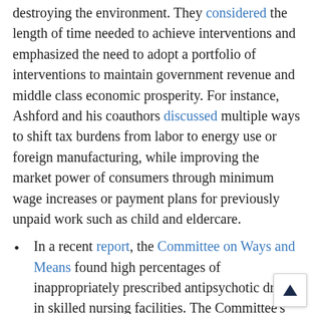destroying the environment. They considered the length of time needed to achieve interventions and emphasized the need to adopt a portfolio of interventions to maintain government revenue and middle class economic prosperity. For instance, Ashford and his coauthors discussed multiple ways to shift tax burdens from labor to energy use or foreign manufacturing, while improving the market power of consumers through minimum wage increases or payment plans for previously unpaid work such as child and eldercare.
In a recent report, the Committee on Ways and Means found high percentages of inappropriately prescribed antipsychotic drugs in skilled nursing facilities. The Committee's study found that citations for over-prescribing antipsychotics to nursing home residents declined significantly since 2017, with less oversight amid the Trump